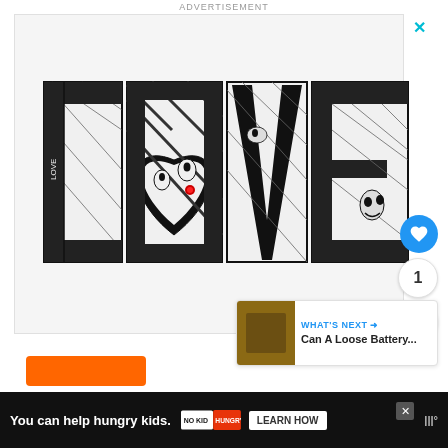ADVERTISEMENT
[Figure (illustration): LOVE artwork with decorative black and white illustrated letters spelling LOVE, with the O shaped as a heart containing artistic face illustrations. Small red rose accent on the O.]
[Figure (other): Blue circular heart/like button showing white heart icon]
1
[Figure (other): White circular share button with share icon]
WHAT'S NEXT → Can A Loose Battery...
You can help hungry kids.
LEARN HOW